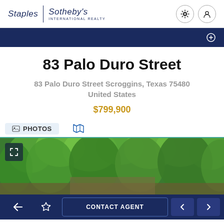[Figure (logo): Staples Sotheby's International Realty logo with settings and user icons]
83 Palo Duro Street
83 Palo Duro Street Scroggins, Texas 75480 United States
$799,900
[Figure (photo): Exterior photo showing lush green trees and wooded property]
Back | Favorite | CONTACT AGENT | Previous | Next navigation bar